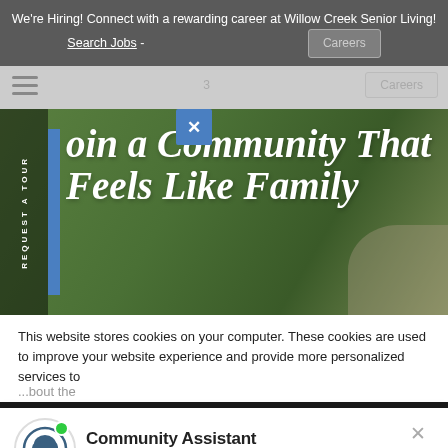We're Hiring! Connect with a rewarding career at Willow Creek Senior Living! Search Jobs - Careers
[Figure (screenshot): Navigation bar with hamburger menu, search field showing partial text, and Careers button]
[Figure (screenshot): Blue X close button]
[Figure (photo): Hero image with blurred outdoor/nature background. Vertical dark sidebar on left with 'REQUEST A TOUR' text rotated, blue accent bar, and white bold italic text 'Join a Community That Feels Like Family']
This website stores cookies on your computer. These cookies are used to improve your website experience and provide more personalized services to
...bout the
[Figure (screenshot): Chat popup widget with Willow Creek logo (tree icon in circle with green online indicator dot), 'Community Assistant' title, 'Willow Creek' subtitle in blue, X close button, and a typing indicator chat bubble with three dots]
Community Assistant
Willow Creek